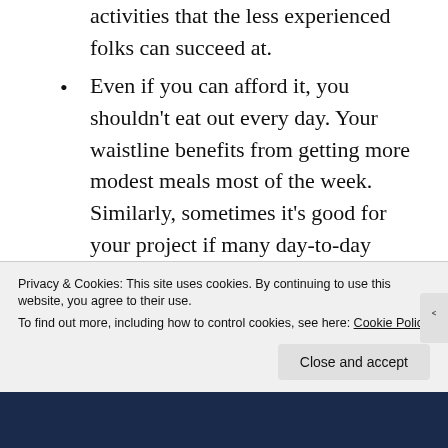activities that the less experienced folks can succeed at.
Even if you can afford it, you shouldn't eat out every day. Your waistline benefits from getting more modest meals most of the week. Similarly, sometimes it's good for your project if many day-to-day usability activities are performed by the designers and developers themselves. The more usability guidelines these folks know, the fewer design mistakes they'll make, and the
Privacy & Cookies: This site uses cookies. By continuing to use this website, you agree to their use.
To find out more, including how to control cookies, see here: Cookie Policy
Close and accept